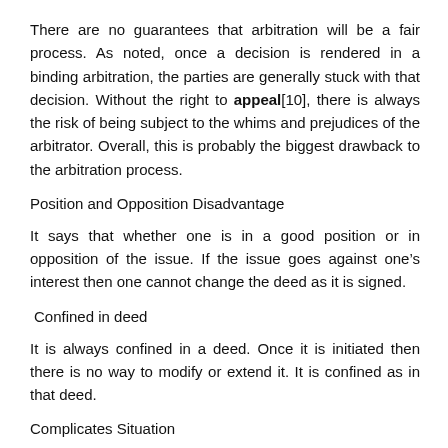There are no guarantees that arbitration will be a fair process. As noted, once a decision is rendered in a binding arbitration, the parties are generally stuck with that decision. Without the right to appeal[10], there is always the risk of being subject to the whims and prejudices of the arbitrator. Overall, this is probably the biggest drawback to the arbitration process.
Position and Opposition Disadvantage
It says that whether one is in a good position or in opposition of the issue. If the issue goes against one's interest then one cannot change the deed as it is signed.
Confined in deed
It is always confined in a deed. Once it is initiated then there is no way to modify or extend it. It is confined as in that deed.
Complicates Situation
If the arbitration is mandatory and binding, the parties waive their rights to access the courts and have a judge.